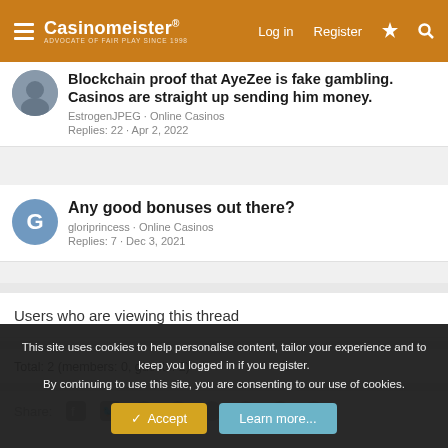Casinomeister - Header navigation with Log in, Register
Blockchain proof that AyeZee is fake gambling. Casinos are straight up sending him money.
EstrogenJPEG · Online Casinos
Replies: 22 · Apr 2, 2022
Any good bonuses out there?
gloriprincess · Online Casinos
Replies: 7 · Dec 3, 2021
Users who are viewing this thread
Total: 2 (members: 0, guests: 2)
Share:
This site uses cookies to help personalise content, tailor your experience and to keep you logged in if you register.
By continuing to use this site, you are consenting to our use of cookies.